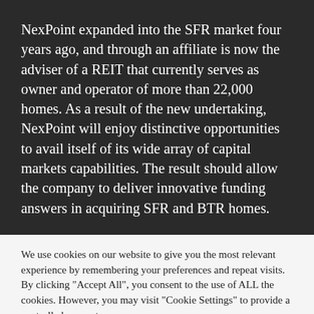NexPoint expanded into the SFR market four years ago, and through an affiliate is now the adviser of a REIT that currently serves as owner and operator of more than 22,000 homes. As a result of the new undertaking, NexPoint will enjoy distinctive opportunities to avail itself of its wide array of capital markets capabilities. The result should allow the company to deliver innovative funding answers in acquiring SFR and BTR homes.
We use cookies on our website to give you the most relevant experience by remembering your preferences and repeat visits. By clicking "Accept All", you consent to the use of ALL the cookies. However, you may visit "Cookie Settings" to provide a controlled consent.